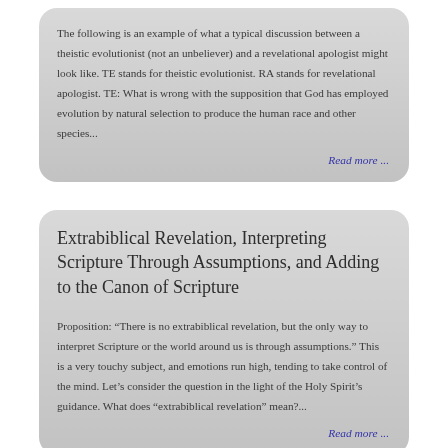The following is an example of what a typical discussion between a theistic evolutionist (not an unbeliever) and a revelational apologist might look like. TE stands for theistic evolutionist. RA stands for revelational apologist. TE: What is wrong with the supposition that God has employed evolution by natural selection to produce the human race and other species...
Read more ...
Extrabiblical Revelation, Interpreting Scripture Through Assumptions, and Adding to the Canon of Scripture
Proposition: “There is no extrabiblical revelation, but the only way to interpret Scripture or the world around us is through assumptions.” This is a very touchy subject, and emotions run high, tending to take control of the mind. Let’s consider the question in the light of the Holy Spirit’s guidance. What does “extrabiblical revelation” mean?...
Read more ...